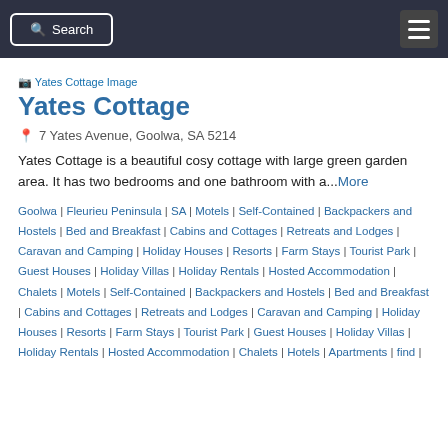Search  ☰
[Figure (photo): Broken image placeholder labeled 'Yates Cottage Image']
Yates Cottage
📍 7 Yates Avenue, Goolwa, SA 5214
Yates Cottage is a beautiful cosy cottage with large green garden area. It has two bedrooms and one bathroom with a...More
Goolwa | Fleurieu Peninsula | SA | Motels | Self-Contained | Backpackers and Hostels | Bed and Breakfast | Cabins and Cottages | Retreats and Lodges | Caravan and Camping | Holiday Houses | Resorts | Farm Stays | Tourist Park | Guest Houses | Holiday Villas | Holiday Rentals | Hosted Accommodation | Chalets | Motels | Self-Contained | Backpackers and Hostels | Bed and Breakfast | Cabins and Cottages | Retreats and Lodges | Caravan and Camping | Holiday Houses | Resorts | Farm Stays | Tourist Park | Guest Houses | Holiday Villas | Holiday Rentals | Hosted Accommodation | Chalets | Hotels | Apartments | find |